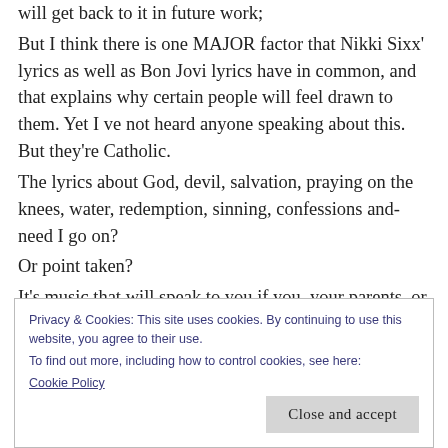will get back to it in future work;
But I think there is one MAJOR factor that Nikki Sixx' lyrics as well as Bon Jovi lyrics have in common, and that explains why certain people will feel drawn to them. Yet I ve not heard anyone speaking about this. But they're Catholic.
The lyrics about God, devil, salvation, praying on the knees, water, redemption, sinning, confessions and- need I go on?
Or point taken?
It's music that will speak to you if you, your parents, or
Privacy & Cookies: This site uses cookies. By continuing to use this website, you agree to their use.
To find out more, including how to control cookies, see here:
Cookie Policy
Close and accept